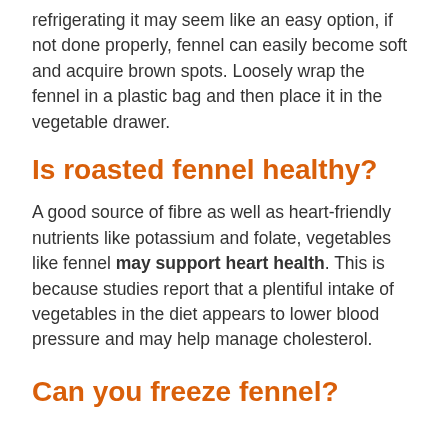refrigerating it may seem like an easy option, if not done properly, fennel can easily become soft and acquire brown spots. Loosely wrap the fennel in a plastic bag and then place it in the vegetable drawer.
Is roasted fennel healthy?
A good source of fibre as well as heart-friendly nutrients like potassium and folate, vegetables like fennel may support heart health. This is because studies report that a plentiful intake of vegetables in the diet appears to lower blood pressure and may help manage cholesterol.
Can you freeze fennel?